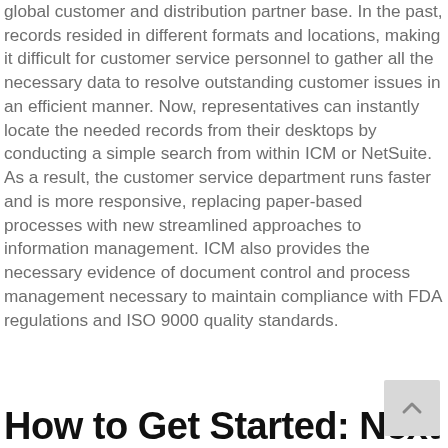global customer and distribution partner base. In the past, records resided in different formats and locations, making it difficult for customer service personnel to gather all the necessary data to resolve outstanding customer issues in an efficient manner. Now, representatives can instantly locate the needed records from their desktops by conducting a simple search from within ICM or NetSuite. As a result, the customer service department runs faster and is more responsive, replacing paper-based processes with new streamlined approaches to information management. ICM also provides the necessary evidence of document control and process management necessary to maintain compliance with FDA regulations and ISO 9000 quality standards.
How to Get Started: Next